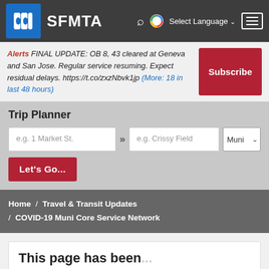SFMTA
Alerts FINAL UPDATE: OB 8, 43 cleared at Geneva and San Jose. Regular service resuming. Expect residual delays. https://t.co/zxzNbvk1jp (More: 18 in last 48 hours)
Trip Planner
e.g. 1 Market St. >> e.g. Crissy Field Muni
Let's Go...
Home / Travel & Transit Updates / COVID-19 Muni Core Service Network
This page has been...